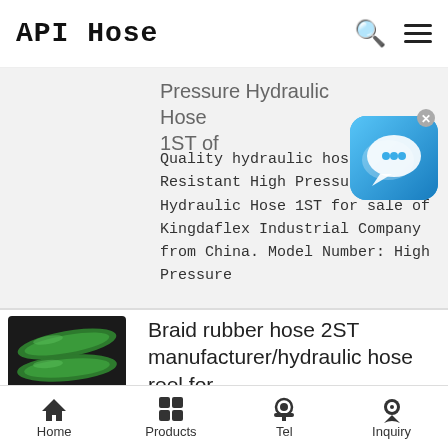API Hose
Pressure Hydraulic Hose 1ST of
Quality hydraulic hose - Oil Resistant High Pressure Hydraulic Hose 1ST for sale of Kingdaflex Industrial Company from China. Model Number: High Pressure
[Figure (illustration): Blue chat/messaging app icon with speech bubble]
[Figure (photo): Green and black braided rubber hydraulic hoses]
Braid rubber hose 2ST manufacturer/hydraulic hose reel for
LuLuSoSo.com Home Selling Leads Buying Leads Companies Member Center Hot Search : Rubber Hoses,
Home  Products  Tel  Inquiry